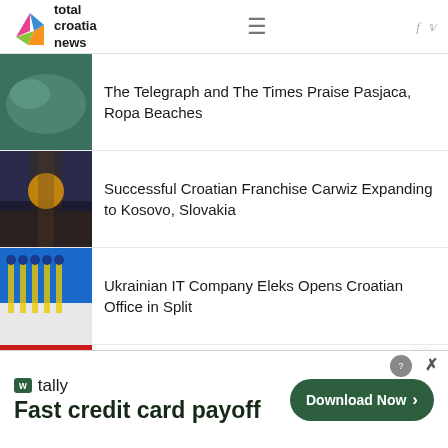total croatia news
The Telegraph and The Times Praise Pasjaca, Ropa Beaches
Successful Croatian Franchise Carwiz Expanding to Kosovo, Slovakia
Ukrainian IT Company Eleks Opens Croatian Office in Split
Virov... Listing...
Subscribe To Our
Fast credit card payoff — Download Now